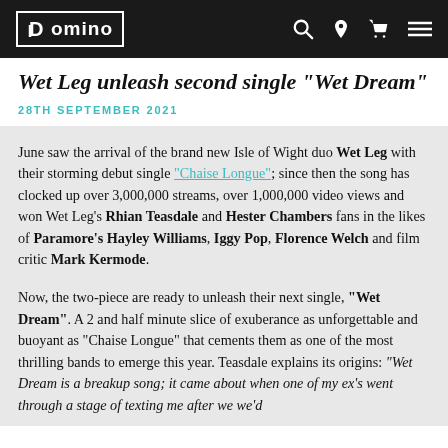Domino [logo]
Wet Leg unleash second single "Wet Dream"
28TH SEPTEMBER 2021
June saw the arrival of the brand new Isle of Wight duo Wet Leg with their storming debut single "Chaise Longue"; since then the song has clocked up over 3,000,000 streams, over 1,000,000 video views and won Wet Leg's Rhian Teasdale and Hester Chambers fans in the likes of Paramore's Hayley Williams, Iggy Pop, Florence Welch and film critic Mark Kermode.

Now, the two-piece are ready to unleash their next single, "Wet Dream". A 2 and half minute slice of exuberance as unforgettable and buoyant as "Chaise Longue" that cements them as one of the most thrilling bands to emerge this year. Teasdale explains its origins: "Wet Dream is a breakup song; it came about when one of my ex's went through a stage of texting me after we we'd